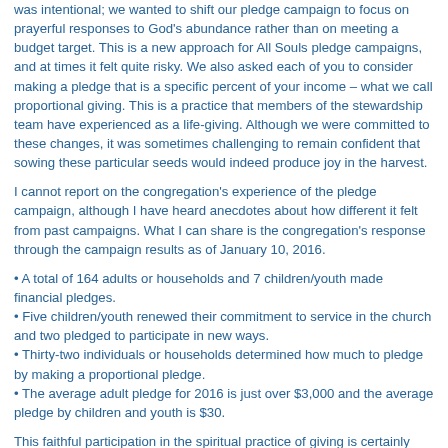was intentional; we wanted to shift our pledge campaign to focus on prayerful responses to God's abundance rather than on meeting a budget target. This is a new approach for All Souls pledge campaigns, and at times it felt quite risky. We also asked each of you to consider making a pledge that is a specific percent of your income – what we call proportional giving. This is a practice that members of the stewardship team have experienced as a life-giving. Although we were committed to these changes, it was sometimes challenging to remain confident that sowing these particular seeds would indeed produce joy in the harvest.
I cannot report on the congregation's experience of the pledge campaign, although I have heard anecdotes about how different it felt from past campaigns. What I can share is the congregation's response through the campaign results as of January 10, 2016.
• A total of 164 adults or households and 7 children/youth made financial pledges.
• Five children/youth renewed their commitment to service in the church and two pledged to participate in new ways.
• Thirty-two individuals or households determined how much to pledge by making a proportional pledge.
• The average adult pledge for 2016 is just over $3,000 and the average pledge by children and youth is $30.
This faithful participation in the spiritual practice of giving is certainly something to feel joyful about. The overall campaign results and